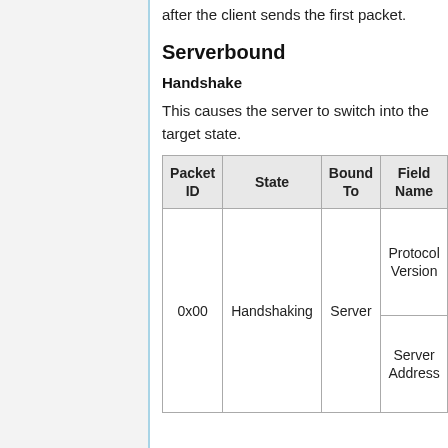after the client sends the first packet.
Serverbound
Handshake
This causes the server to switch into the target state.
| Packet ID | State | Bound To | Field Name |
| --- | --- | --- | --- |
| 0x00 | Handshaking | Server | Protocol Version
Server Address |